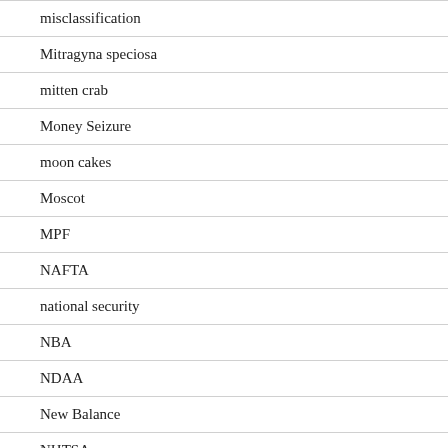misclassification
Mitragyna speciosa
mitten crab
Money Seizure
moon cakes
Moscot
MPF
NAFTA
national security
NBA
NDAA
New Balance
NHTSA
Nike
Nokia